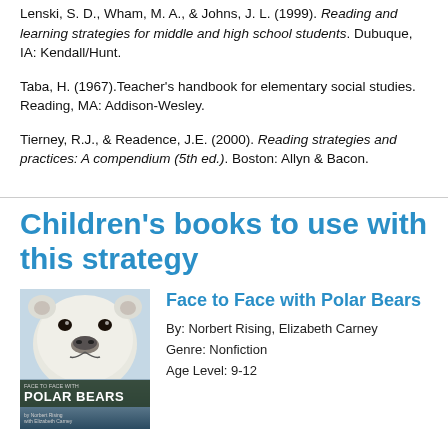Lenski, S. D., Wham, M. A., & Johns, J. L. (1999). Reading and learning strategies for middle and high school students. Dubuque, IA: Kendall/Hunt.
Taba, H. (1967).Teacher's handbook for elementary social studies. Reading, MA: Addison-Wesley.
Tierney, R.J., & Readence, J.E. (2000). Reading strategies and practices: A compendium (5th ed.). Boston: Allyn & Bacon.
Children's books to use with this strategy
[Figure (photo): Book cover of 'Face to Face with Polar Bears' showing a close-up of a polar bear face, with National Geographic logo, dark title bar with white uppercase text 'POLAR BEARS', and author names at bottom.]
Face to Face with Polar Bears
By: Norbert Rising, Elizabeth Carney
Genre: Nonfiction
Age Level: 9-12